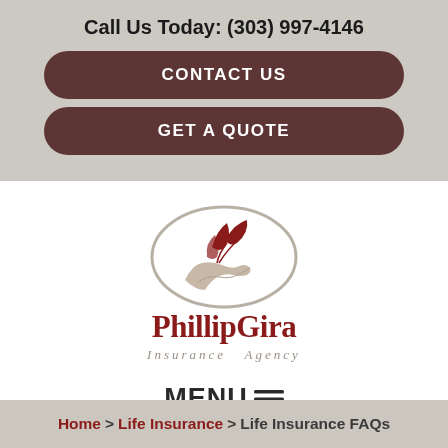Call Us Today: (303) 997-4146
CONTACT US
GET A QUOTE
[Figure (logo): PhillipGira Insurance Agency logo: hand holding leaves inside an oval, with company name in dark red serif font]
MENU ≡
Home > Life Insurance > Life Insurance FAQs